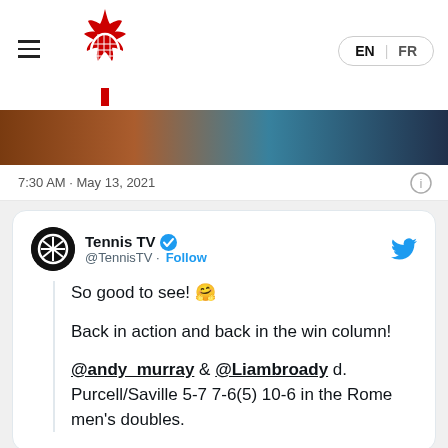Tennis Canada website header with hamburger menu, maple leaf with tennis racket logo, and EN/FR language switcher
[Figure (photo): Partial photo strip showing a tennis court scene, cropped]
7:30 AM · May 13, 2021
Tennis TV @TennisTV · Follow

So good to see! 🤗

Back in action and back in the win column!

@andy_murray & @Liambroady d. Purcell/Saville 5-7 7-6(5) 10-6 in the Rome men's doubles.